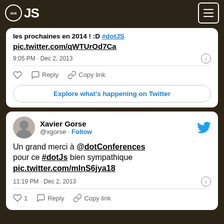dot JS
les prochaines en 2014 ! :D #dotJS pic.twitter.com/qWTUrOd7Ca
9:05 PM · Dec 2, 2013
Reply  Copy link
Explore what's happening on Twitter
Xavier Gorse @xgorse · Follow
Un grand merci à @dotConferences pour ce #dotJs bien sympathique pic.twitter.com/mInS6jya18
11:19 PM · Dec 2, 2013
1  Reply  Copy link